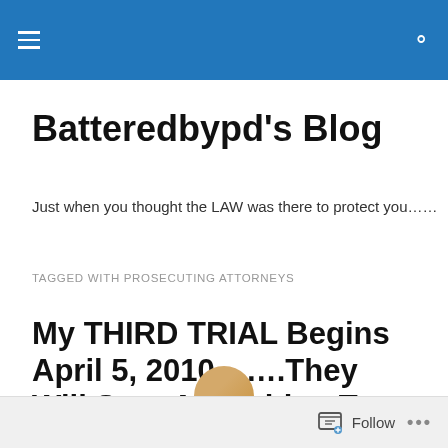Batteredbypd's Blog
Batteredbypd's Blog
Just when you thought the LAW was there to protect you……
TAGGED WITH PROSECUTING ATTORNEYS
My THIRD TRIAL Begins April 5, 2010…….They Will Stop At Nothing To Try To Get A Conviction!
Follow